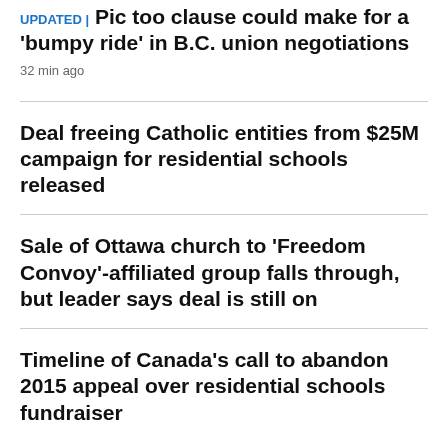UPDATED | Pic too clause could make for a 'bumpy ride' in B.C. union negotiations
32 min ago
Deal freeing Catholic entities from $25M campaign for residential schools released
Sale of Ottawa church to 'Freedom Convoy'-affiliated group falls through, but leader says deal is still on
Timeline of Canada's call to abandon 2015 appeal over residential schools fundraiser
WORLD